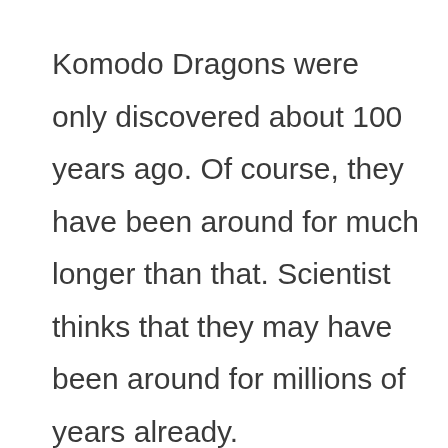Komodo Dragons were only discovered about 100 years ago. Of course, they have been around for much longer than that. Scientist thinks that they may have been around for millions of years already.